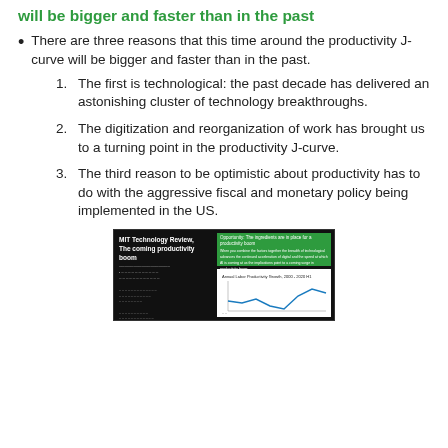First, Three reasons to believe the productivity curve will be bigger and faster than in the past
There are three reasons that this time around the productivity J-curve will be bigger and faster than in the past.
1. The first is technological: the past decade has delivered an astonishing cluster of technology breakthroughs.
2. The digitization and reorganization of work has brought us to a turning point in the productivity J-curve.
3. The third reason to be optimistic about productivity has to do with the aggressive fiscal and monetary policy being implemented in the US.
[Figure (screenshot): Screenshot of MIT Technology Review slide titled 'The coming productivity boom' showing a green text box on the right and a line chart labeled 'Annual Labor Productivity Growth, 2000-2020 H1']